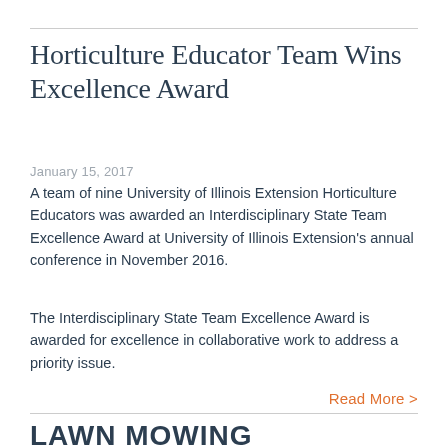Horticulture Educator Team Wins Excellence Award
January 15, 2017
A team of nine University of Illinois Extension Horticulture Educators was awarded an Interdisciplinary State Team Excellence Award at University of Illinois Extension's annual conference in November 2016.
The Interdisciplinary State Team Excellence Award is awarded for excellence in collaborative work to address a priority issue.
Read More >
LAWN MOWING GUIDELINES